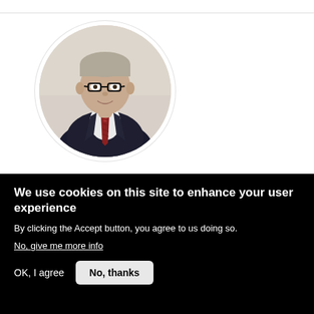[Figure (photo): Circular profile photo of a middle-aged man wearing glasses, a dark suit jacket, white shirt, and a patterned red tie, photographed against a neutral background. The photo is cropped in a circle.]
We use cookies on this site to enhance your user experience
By clicking the Accept button, you agree to us doing so.
No, give me more info
OK, I agree
No, thanks